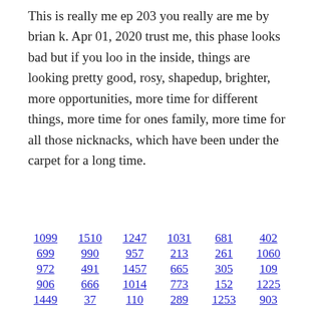This is really me ep 203 you really are me by brian k. Apr 01, 2020 trust me, this phase looks bad but if you loo in the inside, things are looking pretty good, rosy, shapedup, brighter, more opportunities, more time for different things, more time for ones family, more time for all those nicknacks, which have been under the carpet for a long time.
1099  1510  1247  1031  681  402
699  990  957  213  261  1060
972  491  1457  665  305  109
906  666  1014  773  152  1225
1449  37  110  289  1253  903